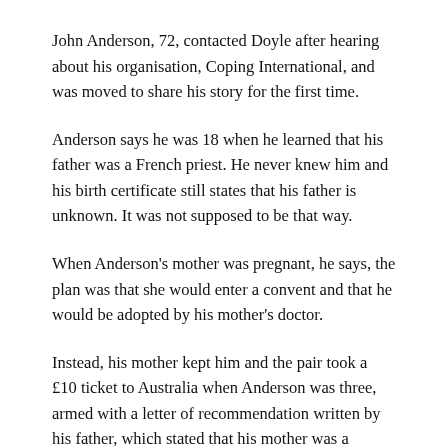John Anderson, 72, contacted Doyle after hearing about his organisation, Coping International, and was moved to share his story for the first time.
Anderson says he was 18 when he learned that his father was a French priest. He never knew him and his birth certificate still states that his father is unknown. It was not supposed to be that way.
When Anderson's mother was pregnant, he says, the plan was that she would enter a convent and that he would be adopted by his mother's doctor.
Instead, his mother kept him and the pair took a £10 ticket to Australia when Anderson was three, armed with a letter of recommendation written by his father, which stated that his mother was a “creditable emigrant”.